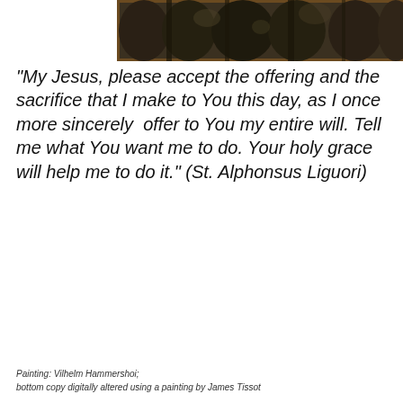[Figure (photo): A dark painting showing a forest or nature scene, dark tones, horizontal landscape orientation]
"My Jesus, please accept the offering and the sacrifice that I make to You this day, as I once more sincerely offer to You my entire will. Tell me what You want me to do. Your holy grace will help me to do it." (St. Alphonsus Liguori)
Painting: Vilhelm Hammershoi;
bottom copy digitally altered using a painting by James Tissot